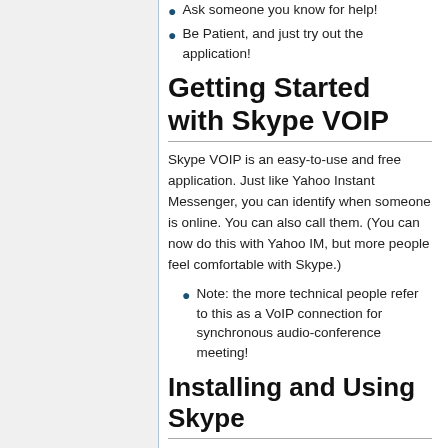Ask someone you know for help!
Be Patient, and just try out the application!
Getting Started with Skype VOIP
Skype VOIP is an easy-to-use and free application. Just like Yahoo Instant Messenger, you can identify when someone is online. You can also call them. (You can now do this with Yahoo IM, but more people feel comfortable with Skype.)
Note: the more technical people refer to this as a VoIP connection for synchronous audio-conference meeting!
Installing and Using Skype
You Will: